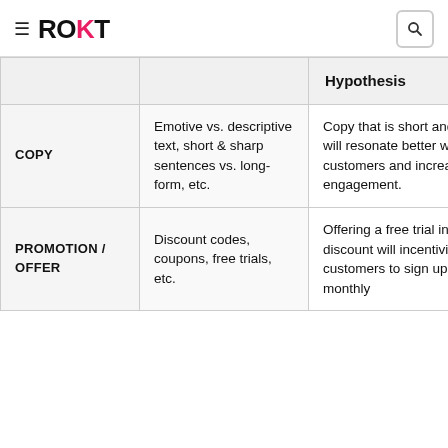ROKT
|  |  | Hypothesis |
| --- | --- | --- |
| COPY | Emotive vs. descriptive text, short & sharp sentences vs. long-form, etc. | Copy that is short and concise will resonate better with customers and increase engagement. |
| PROMOTION / OFFER | Discount codes, coupons, free trials, etc. | Offering a free trial instead of a discount will incentivize more customers to sign up for a monthly… |